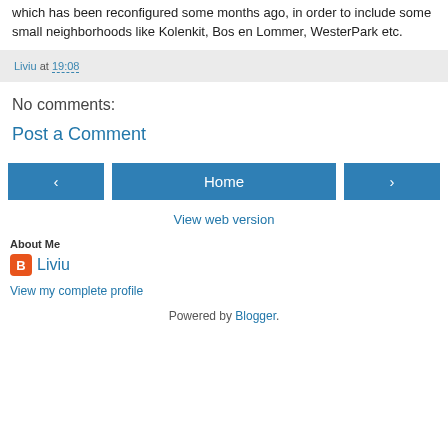which has been reconfigured some months ago, in order to include some small neighborhoods like Kolenkit, Bos en Lommer, WesterPark etc.
Liviu at 19:08
No comments:
Post a Comment
[Figure (other): Navigation buttons: left arrow, Home, right arrow]
View web version
About Me
Liviu
View my complete profile
Powered by Blogger.